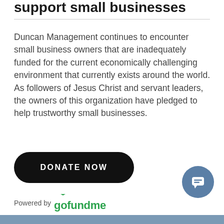support small businesses
Duncan Management continues to encounter small business owners that are inadequately funded for the current economically challenging environment that currently exists around the world. As followers of Jesus Christ and servant leaders, the owners of this organization have pledged to help trustworthy small businesses.
[Figure (other): Black rounded rectangle button with white bold uppercase text reading DONATE NOW]
[Figure (logo): Powered by gofundme logo with green gofundme text and small crown/sunburst icon above the letters]
[Figure (other): Blue-grey circular chat bubble button in bottom right corner with white chat icon]